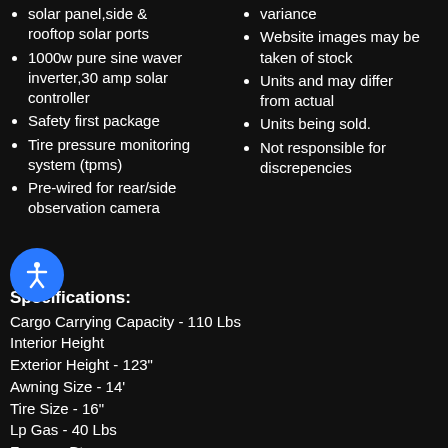solar panel,side & rooftop solar ports
1000w pure sine waver inverter,30 amp solar controller
Safety first package
Tire pressure monitoring system (tpms)
Pre-wired for rear/side observation camera
variance
Website images may be taken of stock
Units and may differ from actual
Units being sold.
Not responsible for discrepencies
Specifications:
Cargo Carrying Capacity - 110 Lbs
Interior Height
Exterior Height - 123"
Awning Size - 14'
Tire Size - 16"
Lp Gas - 40 Lbs
Furnace Btus
Refrigerator Cu Ft - 8
Water Heater Capacity
Leveling Jack - 4